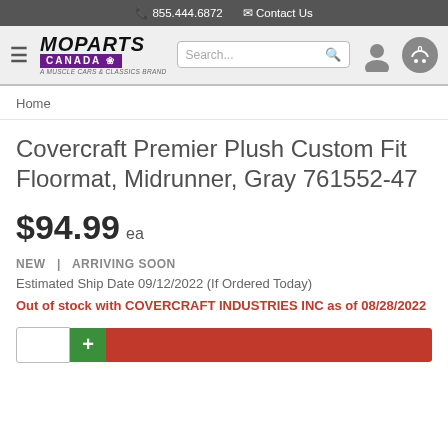855.444.6872  Contact Us
[Figure (logo): Moparts Canada logo - A Muscle Cars & Classics Brand]
Home
Covercraft Premier Plush Custom Fit Floormat, Midrunner, Gray 761552-47
$94.99 ea
NEW | ARRIVING SOON
Estimated Ship Date 09/12/2022 (If Ordered Today)
Out of stock with COVERCRAFT INDUSTRIES INC as of 08/28/2022